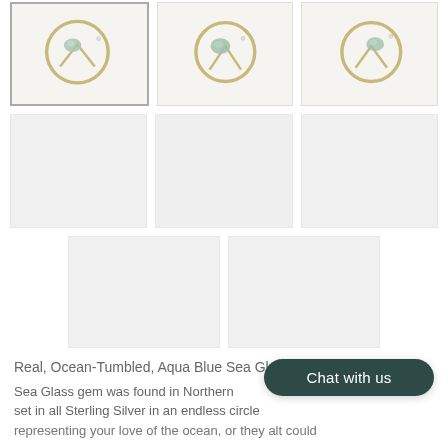[Figure (photo): Three product thumbnail photos of a silver ring with aqua blue sea glass stone, shown from different angles. First thumbnail is selected (bordered). Second and third show different angles of the same ring.]
[Figure (photo): Three blank/loading placeholder image boxes in a row below the ring thumbnails.]
[Figure (photo): Two blank/loading placeholder image boxes in a row, centered, below the second row.]
Real, Ocean-Tumbled, Aqua Blue Sea Gl...
Sea Glass gem was found in Northern... set in all Sterling Silver in an endless circle representing your love of the ocean, or they alt could